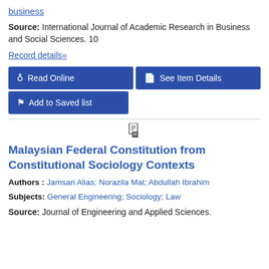business
Source: International Journal of Academic Research in Business and Social Sciences. 10
Record details»
Read Online
See Item Details
Add to Saved list
Malaysian Federal Constitution from Constitutional Sociology Contexts
Authors : Jamsari Alias; Norazila Mat; Abdullah Ibrahim
Subjects: General Engineering; Sociology; Law
Source: Journal of Engineering and Applied Sciences.